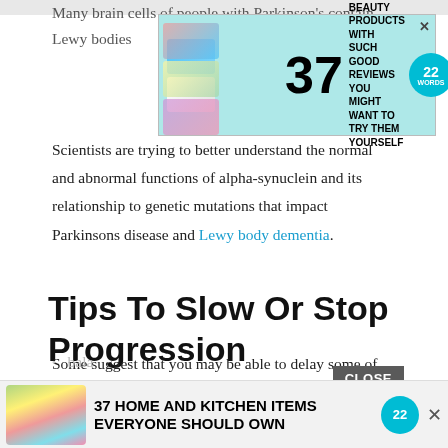Many brain cells of people with Parkinson's contain Lewy bodies Scientists are trying to better understand the normal and abnormal functions of alpha-synuclein and its relationship to genetic mutations that impact Parkinsons disease and Lewy body dementia.
[Figure (screenshot): Advertisement banner: '37 BEAUTY PRODUCTS WITH SUCH GOOD REVIEWS YOU MIGHT WANT TO TRY THEM YOURSELF' with 22 Words logo on cyan background]
Tips To Slow Or Stop Progression
Some suggest that you may be able to delay some of the effects of Parkinsons disease through regular physical activity. Ideally this would include a combination of exercise that includes:
aerobic activity
bala...
[Figure (screenshot): Bottom advertisement banner: '37 HOME AND KITCHEN ITEMS EVERYONE SHOULD OWN' with colorful food storage bags image and 22 Words logo]